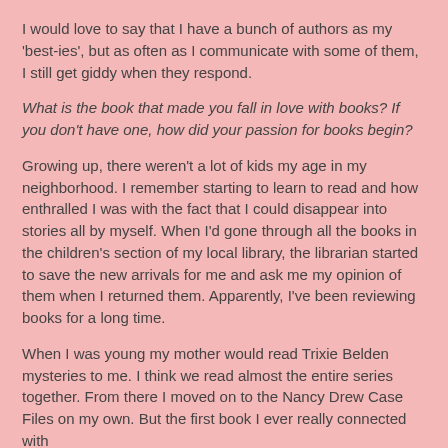I would love to say that I have a bunch of authors as my 'best-ies', but as often as I communicate with some of them, I still get giddy when they respond.
What is the book that made you fall in love with books? If you don't have one, how did your passion for books begin?
Growing up, there weren't a lot of kids my age in my neighborhood. I remember starting to learn to read and how enthralled I was with the fact that I could disappear into stories all by myself. When I'd gone through all the books in the children's section of my local library, the librarian started to save the new arrivals for me and ask me my opinion of them when I returned them. Apparently, I've been reviewing books for a long time.
When I was young my mother would read Trixie Belden mysteries to me. I think we read almost the entire series together. From there I moved on to the Nancy Drew Case Files on my own. But the first book I ever really connected with was...